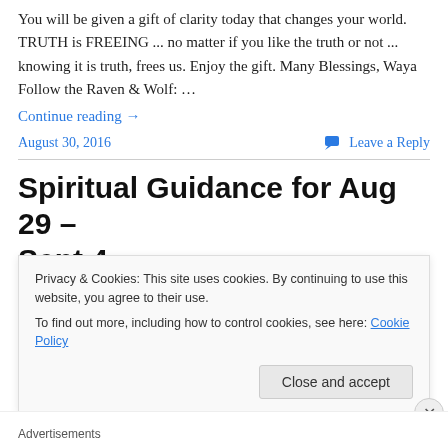You will be given a gift of clarity today that changes your world. TRUTH is FREEING ... no matter if you like the truth or not ... knowing it is truth, frees us. Enjoy the gift. Many Blessings, Waya Follow the Raven & Wolf: …
Continue reading →
August 30, 2016   Leave a Reply
Spiritual Guidance for Aug 29 – Sept 4
Privacy & Cookies: This site uses cookies. By continuing to use this website, you agree to their use.
To find out more, including how to control cookies, see here: Cookie Policy
Close and accept
Advertisements